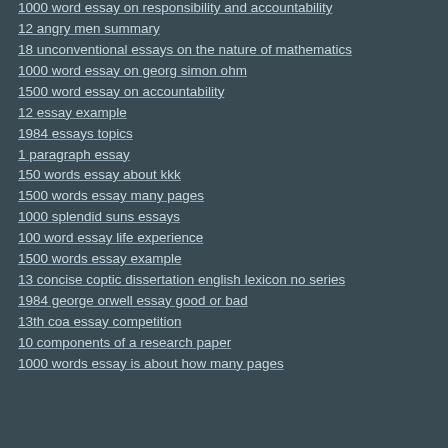1000 word essay on responsibility and accountability
12 angry men summary
18 unconventional essays on the nature of mathematics
1000 word essay on georg simon ohm
1500 word essay on accountability
12 essay example
1984 essays topics
1 paragraph essay
150 words essay about kkk
1500 words essay many pages
1000 splendid suns essays
100 word essay life experience
1500 words essay example
13 concise coptic dissertation english lexicon no series
1984 george orwell essay good or bad
13th coa essay competition
10 components of a research paper
1000 words essay is about how many pages